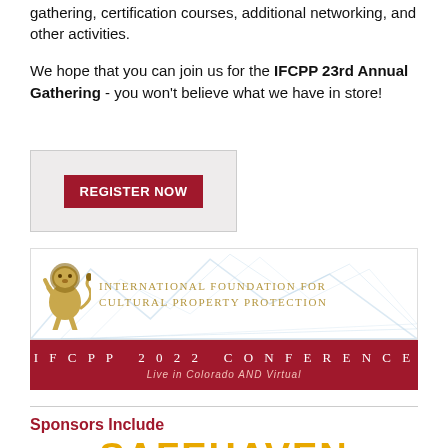gathering, certification courses, additional networking, and other activities.
We hope that you can join us for the IFCPP 23rd Annual Gathering - you won't believe what we have in store!
[Figure (other): REGISTER NOW button in dark red on light grey background]
[Figure (logo): IFCPP logo with lion and mountain background, text: INTERNATIONAL FOUNDATION FOR CULTURAL PROPERTY PROTECTION, IFCPP 2022 Conference, Live in Colorado AND Virtual]
Sponsors Include
[Figure (logo): SAFEHAVEN logo partially visible at bottom of page with eagle emblem]